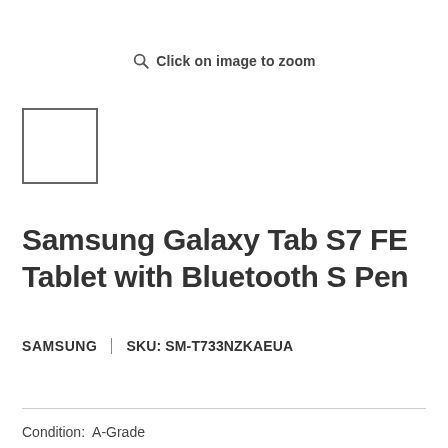Click on image to zoom
[Figure (other): Small thumbnail placeholder box with border]
Samsung Galaxy Tab S7 FE Tablet with Bluetooth S Pen
SAMSUNG    SKU: SM-T733NZKAEUA
Condition:  A-Grade